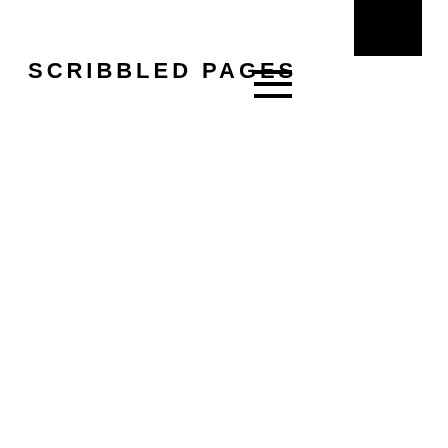[Figure (other): Black square/rectangle in the top-right corner, partially cropped at the top edge]
SCRIBBLED PAGES
[Figure (other): Hamburger menu icon — three horizontal black lines stacked vertically]